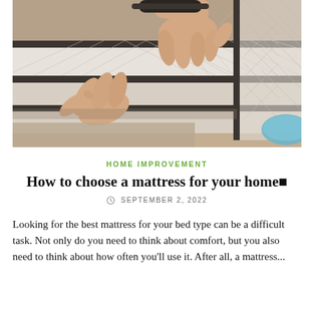[Figure (photo): Hands squeezing/examining the edge of a mattress in a store, showing the layers and quilted fabric of the mattress. A blue pillow is visible in the bottom right corner.]
HOME IMPROVEMENT
How to choose a mattress for your home■
SEPTEMBER 2, 2022
Looking for the best mattress for your bed type can be a difficult task. Not only do you need to think about comfort, but you also need to think about how often you'll use it. After all, a mattress...